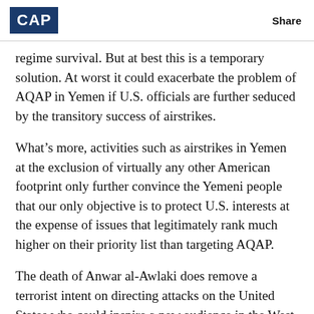CAP | Share
regime survival. But at best this is a temporary solution. At worst it could exacerbate the problem of AQAP in Yemen if U.S. officials are further seduced by the transitory success of airstrikes.
What’s more, activities such as airstrikes in Yemen at the exclusion of virtually any other American footprint only further convince the Yemeni people that our only objective is to protect U.S. interests at the expense of issues that legitimately rank much higher on their priority list than targeting AQAP.
The death of Anwar al-Awlaki does remove a terrorist intent on directing attacks on the United States who could inspire a new audience in the West to take up his call because he could speak and write in English. But